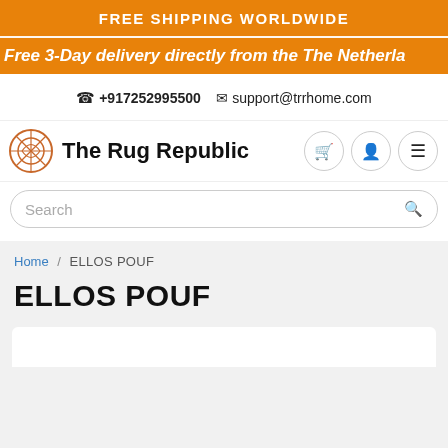FREE SHIPPING WORLDWIDE
Free 3-Day delivery directly from the The Netherla
+917252995500  support@trrhome.com
[Figure (logo): The Rug Republic logo with circular geometric rug icon and bold text]
Search
Home / ELLOS POUF
ELLOS POUF